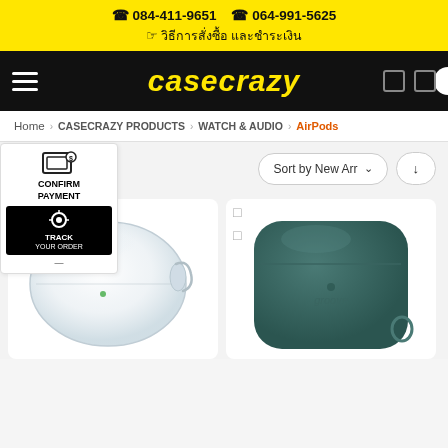☎ 084-411-9651  ☎ 064-991-5625
☞ วิธีการสั่งซื้อ และชำระเงิน
[Figure (logo): casecrazy logo in yellow on black nav bar with hamburger menu and icons]
Home > CASECRAZY PRODUCTS > WATCH & AUDIO > AirPods
[Figure (screenshot): Sidebar widget with CONFIRM PAYMENT icon and TRACK YOUR ORDER button]
Sort by New Arr ∨
[Figure (photo): Clear transparent AirPods case product photo]
[Figure (photo): Dark teal/green silicone AirPods case with Groove branding]